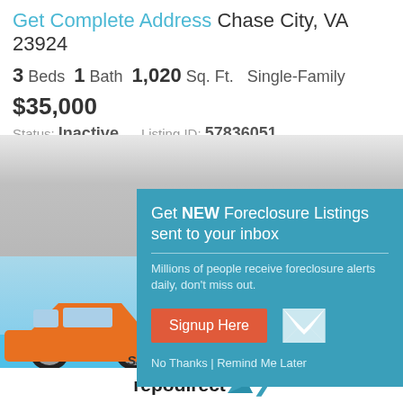Get Complete Address Chase City, VA 23924
3 Beds  1 Bath  1,020 Sq. Ft.  Single-Family
$35,000
Status: Inactive   Listing ID: 57836051
[Figure (photo): Gray photo placeholder showing a house listing image area]
[Figure (photo): Advertisement image showing an orange car on a blue background with repossessed items text]
Get NEW Foreclosure Listings sent to your inbox
Millions of people receive foreclosure alerts daily, don't miss out.
Signup Here
No Thanks | Remind Me Later
on repossessed items. Visit Today
repodirect